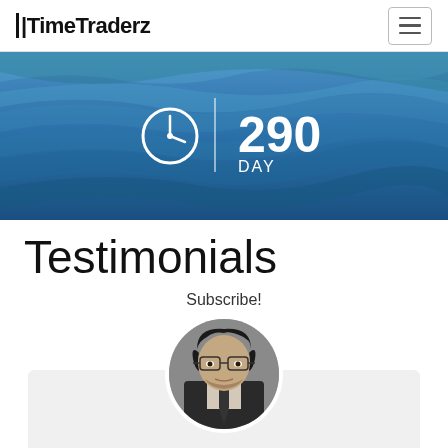TimeTraderz
[Figure (infographic): Blue ocean wave background banner with a clock icon, vertical divider line, and text showing '290 DAY' in white]
Testimonials
Subscribe!
[Figure (photo): Circular portrait photo of a young man with curly dark hair, glasses, and a suit with a tie, on gray background]